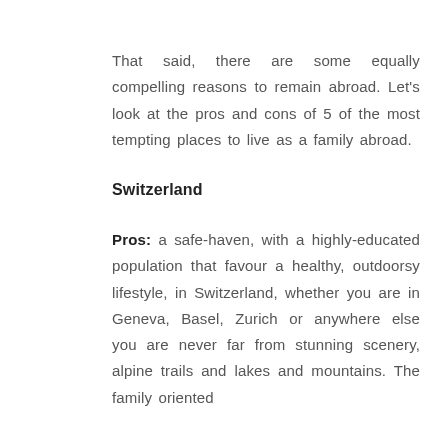That said, there are some equally compelling reasons to remain abroad. Let's look at the pros and cons of 5 of the most tempting places to live as a family abroad.
Switzerland
Pros: a safe-haven, with a highly-educated population that favour a healthy, outdoorsy lifestyle, in Switzerland, whether you are in Geneva, Basel, Zurich or anywhere else you are never far from stunning scenery, alpine trails and lakes and mountains. The family oriented